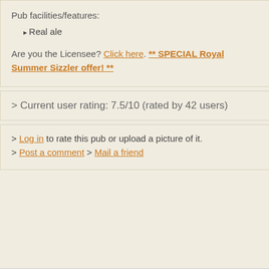Pub facilities/features:
Real ale
Are you the Licensee? Click here. ** SPECIAL Royal Summer Sizzler offer! **
> Current user rating: 7.5/10 (rated by 42 users)
> Log in to rate this pub or upload a picture of it.
> Post a comment > Mail a friend